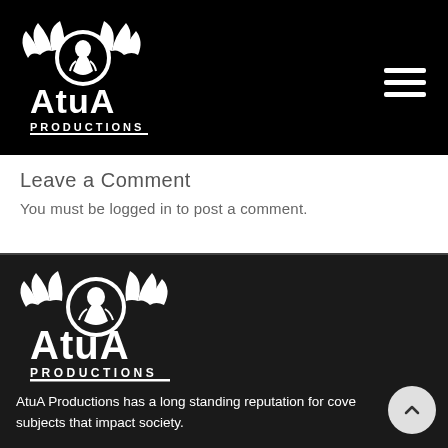[Figure (logo): AtuA Productions logo — winged circle emblem with warrior figure, bold text 'AtuA' and 'PRODUCTIONS' below, white on black background, top header]
Leave a Comment
You must be logged in to post a comment.
[Figure (logo): AtuA Productions logo — winged circle emblem with warrior figure, bold text 'AtuA' and 'PRODUCTIONS' below, white on dark background, footer section]
AtuA Productions has a long standing reputation for covering subjects that impact society.